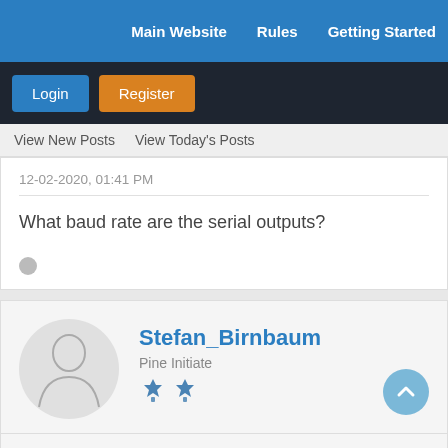Main Website   Rules   Getting Started
Login   Register
View New Posts   View Today's Posts
12-02-2020, 01:41 PM
What baud rate are the serial outputs?
Stefan_Birnbaum
Pine Initiate
04-09-2021, 08:59 AM